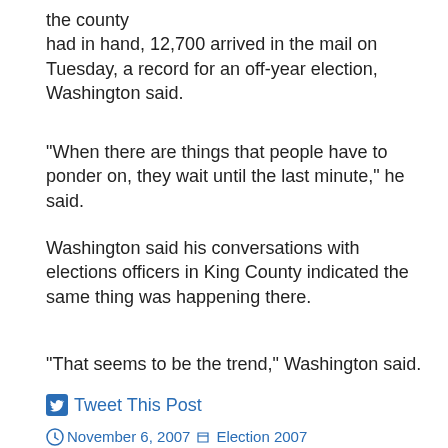the county
had in hand, 12,700 arrived in the mail on Tuesday, a record for an off-year election, Washington said.
“When there are things that people have to ponder on, they wait until the last minute,” he said.
Washington said his conversations with elections officers in King County indicated the same thing was happening there.
“That seems to be the trend,” Washington said.
Tweet This Post
November 6, 2007   Election 2007
Email This Post
Leave a comment